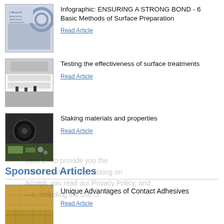[Figure (photo): Thumbnail image of infographic about surface preparation]
Infographic: ENSURING A STRONG BOND - 6 Basic Methods of Surface Preparation
Read Article
[Figure (photo): Thumbnail image of surface treatment testing equipment]
Testing the effectiveness of surface treatments
Read Article
[Figure (photo): Thumbnail image of staking materials close-up]
Staking materials and properties
Read Article
Sponsored Articles
[Figure (photo): Thumbnail image of wood flooring]
Unique Advantages of Contact Adhesives
Read Article